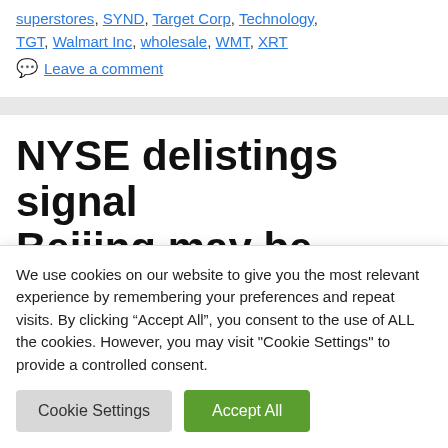superstores, SYND, Target Corp, Technology, TGT, Walmart Inc, wholesale, WMT, XRT
Leave a comment
NYSE delistings signal Beijing may be willing...
We use cookies on our website to give you the most relevant experience by remembering your preferences and repeat visits. By clicking "Accept All", you consent to the use of ALL the cookies. However, you may visit "Cookie Settings" to provide a controlled consent.